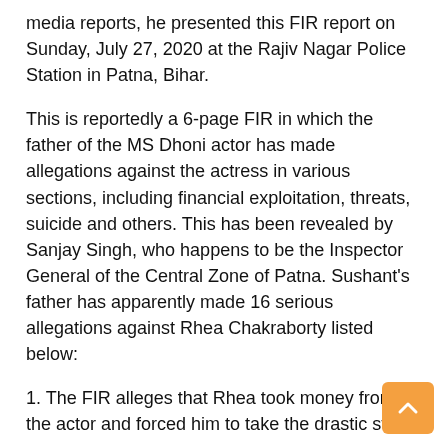media reports, he presented this FIR report on Sunday, July 27, 2020 at the Rajiv Nagar Police Station in Patna, Bihar.
This is reportedly a 6-page FIR in which the father of the MS Dhoni actor has made allegations against the actress in various sections, including financial exploitation, threats, suicide and others. This has been revealed by Sanjay Singh, who happens to be the Inspector General of the Central Zone of Patna. Sushant's father has apparently made 16 serious allegations against Rhea Chakraborty listed below:
1. The FIR alleges that Rhea took money from the actor and forced him to take the drastic step.
2. Rea financially exploited Sushant and forced him to stay away from his family.
3. It has been alleged that the actress violated Sushant's trust and led him to end his life.